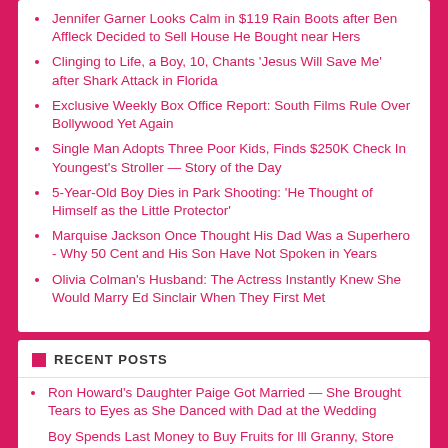Jennifer Garner Looks Calm in $119 Rain Boots after Ben Affleck Decided to Sell House He Bought near Hers
Clinging to Life, a Boy, 10, Chants 'Jesus Will Save Me' after Shark Attack in Florida
Exclusive Weekly Box Office Report: South Films Rule Over Bollywood Yet Again
Single Man Adopts Three Poor Kids, Finds $250K Check In Youngest's Stroller — Story of the Day
5-Year-Old Boy Dies in Park Shooting: 'He Thought of Himself as the Little Protector'
Marquise Jackson Once Thought His Dad Was a Superhero - Why 50 Cent and His Son Have Not Spoken in Years
Olivia Colman's Husband: The Actress Instantly Knew She Would Marry Ed Sinclair When They First Met
RECENT POSTS
Ron Howard's Daughter Paige Got Married — She Brought Tears to Eyes as She Danced with Dad at the Wedding
Boy Spends Last Money to Buy Fruits for Ill Granny, Store Owner Appears In Her Ward Later — Story of the Day